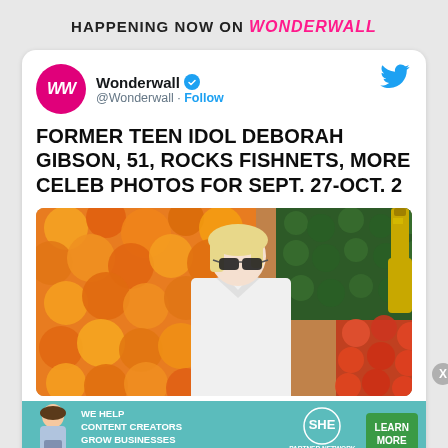HAPPENING NOW ON WONDERWALL
[Figure (screenshot): Tweet card from Wonderwall (@Wonderwall) with verified badge and Follow link, showing tweet text and photo of a blonde woman in white shirt and sunglasses against orange flower wall background]
FORMER TEEN IDOL DEBORAH GIBSON, 51, ROCKS FISHNETS, MORE CELEB PHOTOS FOR SEPT. 27-OCT. 2
[Figure (photo): Photo of a blonde woman wearing white shirt and black sunglasses, standing in front of orange/yellow flowers and green hedge backdrop with champagne bottle visible]
[Figure (infographic): Advertisement banner: WE HELP CONTENT CREATORS GROW BUSINESSES THROUGH... SHE PARTNER NETWORK BECOME A MEMBER with LEARN MORE button]